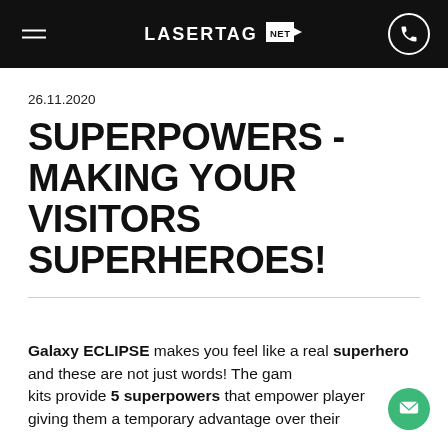LASERTAG NET
26.11.2020
SUPERPOWERS -MAKING YOUR VISITORS SUPERHEROES!
Galaxy ECLIPSE makes you feel like a real superhero and these are not just words! The game kits provide 5 superpowers that empower players giving them a temporary advantage over their